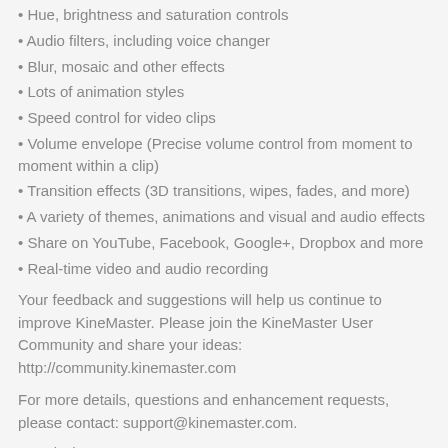Hue, brightness and saturation controls
Audio filters, including voice changer
Blur, mosaic and other effects
Lots of animation styles
Speed control for video clips
Volume envelope (Precise volume control from moment to moment within a clip)
Transition effects (3D transitions, wipes, fades, and more)
A variety of themes, animations and visual and audio effects
Share on YouTube, Facebook, Google+, Dropbox and more
Real-time video and audio recording
Your feedback and suggestions will help us continue to improve KineMaster. Please join the KineMaster User Community and share your ideas: http://community.kinemaster.com
For more details, questions and enhancement requests, please contact: support@kinemaster.com.
Permissions